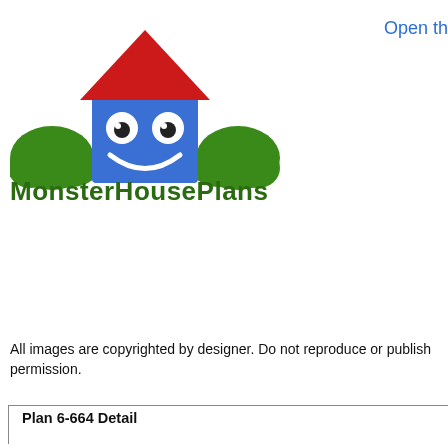[Figure (logo): MonsterHousePlans logo: blue house shape with red roof, googly eyes and smile, flanked by green bushes, with 'MonsterHousePlans' text in dark green below]
Open th
All images are copyrighted by designer. Do not reproduce or publish permission.
Plan 6-664 Detail